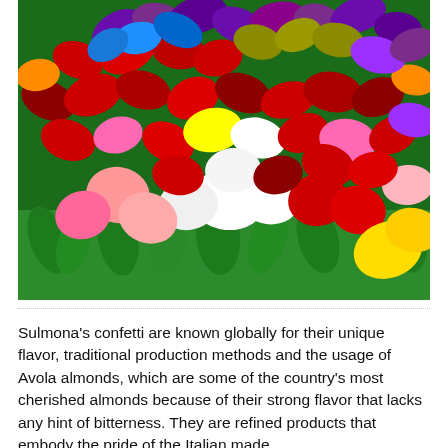[Figure (photo): Close-up photograph of colorful confetti candies (Jordan almonds) arranged to look like flower bouquets with green foil leaves. The candies are in various colors: red, pink, white, purple, blue, yellow, green, orange, creating a vibrant floral display.]
Sulmona's confetti are known globally for their unique flavor, traditional production methods and the usage of Avola almonds, which are some of the country's most cherished almonds because of their strong flavor that lacks any hint of bitterness. They are refined products that embody the pride of the Italian made